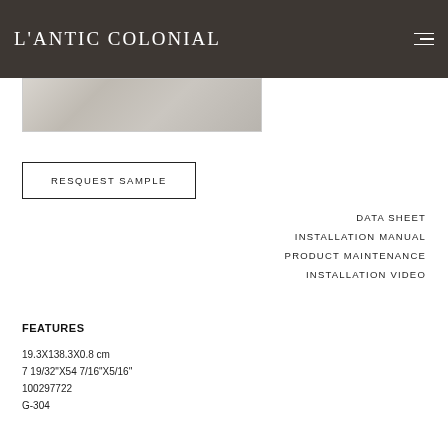L'ANTIC COLONIAL
[Figure (photo): Marble or stone product tile image, grey/white tones]
RESQUEST SAMPLE
DATA SHEET
INSTALLATION MANUAL
PRODUCT MAINTENANCE
INSTALLATION VIDEO
FEATURES
19.3X138.3X0.8 cm
7 19/32"X54 7/16"X5/16''
100297722
G-304